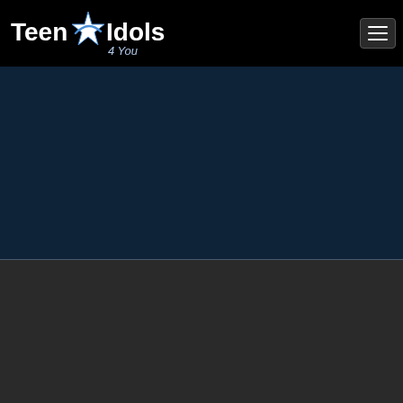[Figure (logo): Teen Idols 4 You logo with star graphic on black header bar]
[Figure (screenshot): Dark blue main content area (navigation/content area, mostly empty)]
View Full Desktop Site
Privacy Policy
Copyright Policy
Terms & Conditions
Copyright © 2021 The Galactic Studio. All rights reserved. Photos & certain artwork used on TeenIdols4You are copyright protected and are the property of their respective owners.